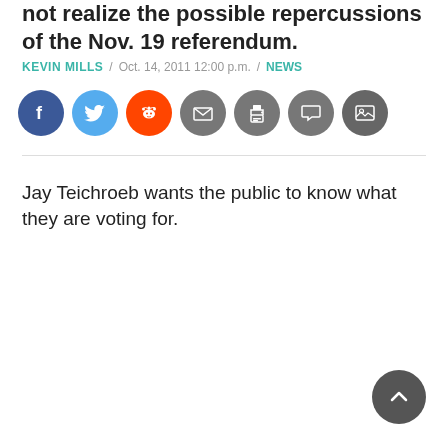not realize the possible repercussions of the Nov. 19 referendum.
KEVIN MILLS / Oct. 14, 2011 12:00 p.m. / NEWS
[Figure (other): Social sharing icons: Facebook (blue), Twitter (light blue), Reddit (orange), Email (grey), Print (grey), Comment (grey), Gallery (grey)]
Jay Teichroeb wants the public to know what they are voting for.